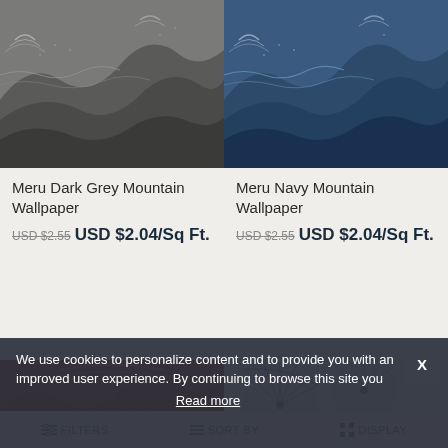[Figure (photo): Meru Dark Grey Mountain Wallpaper product image - grey mountain pattern with dotted and wave textures]
[Figure (photo): Meru Navy Mountain Wallpaper product image - navy blue mountain pattern with dotted and wave textures]
Meru Dark Grey Mountain Wallpaper
USD $2.55  USD $2.04/Sq Ft.
Meru Navy Mountain Wallpaper
USD $2.55  USD $2.04/Sq Ft.
[Figure (photo): Red mountain/wave patterned wallpaper product image]
[Figure (photo): Blue and white fan/umbrella patterned wallpaper product image]
We use cookies to personalize content and to provide you with an improved user experience. By continuing to browse this site you
Read more
FILTERS   SORT BY   DISPLAY